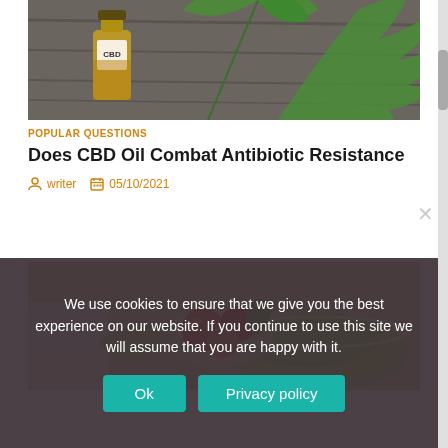[Figure (photo): A CBD oil bottle with a cannabis leaf on a wooden table background]
POPULAR QUESTIONS
Does CBD Oil Combat Antibiotic Resistance
writer   05/10/2021
[Figure (photo): A person preparing a salad with tomatoes and lettuce in a glass bowl]
We use cookies to ensure that we give you the best experience on our website. If you continue to use this site we will assume that you are happy with it.